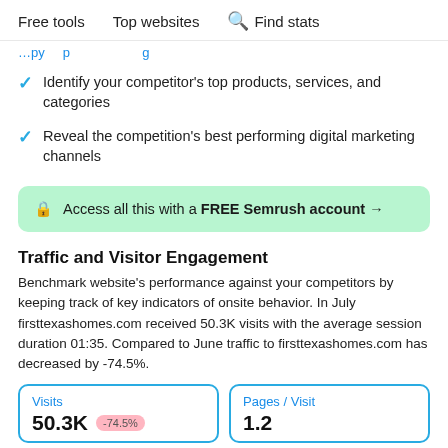Free tools   Top websites   🔍 Find stats
…(partial blue text line above checklist)…
Identify your competitor's top products, services, and categories
Reveal the competition's best performing digital marketing channels
🔒 Access all this with a FREE Semrush account →
Traffic and Visitor Engagement
Benchmark website's performance against your competitors by keeping track of key indicators of onsite behavior. In July firsttexashomes.com received 50.3K visits with the average session duration 01:35. Compared to June traffic to firsttexashomes.com has decreased by -74.5%.
| Visits | Pages / Visit |
| --- | --- |
| 50.3K  -74.5% | 1.2 |